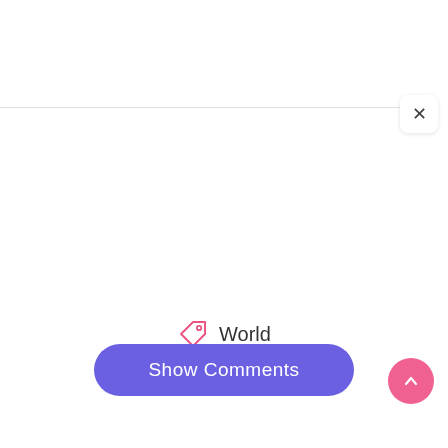[Figure (screenshot): A UI screenshot showing a close (X) button in the top right corner, a horizontal divider line below it, a tag icon with the label 'World' in the center, a purple 'Show Comments' rounded button at the bottom center, and a pink circular scroll-to-top button at the bottom right.]
World
Show Comments